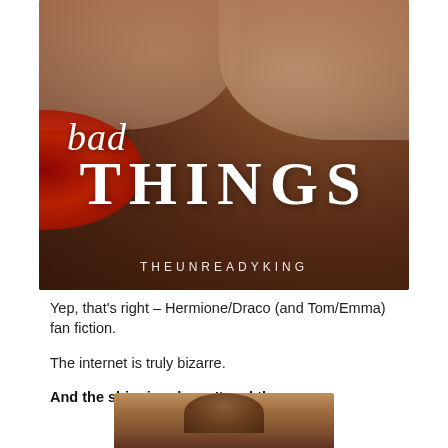[Figure (illustration): Book cover for 'bad THINGS' by THEUNREADYKING showing two people close together, a man and woman in winter clothing about to kiss, with decorative red elements in the lower left]
Yep, that's right – Hermione/Draco (and Tom/Emma) fan fiction.
The internet is truly bizarre.
And the shipping doesn't end there.
[Figure (photo): Partial photo showing the top of a person's head with brown/auburn hair, cropped at the bottom of the page]